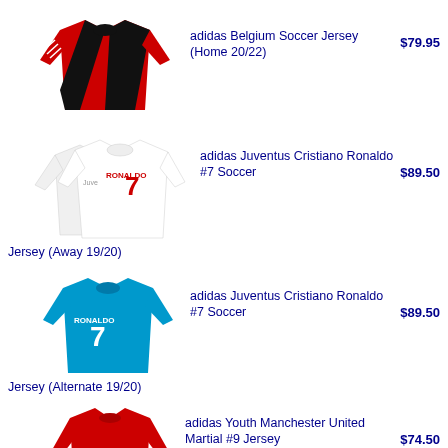[Figure (illustration): adidas Belgium Soccer Jersey red and black home kit]
adidas Belgium Soccer Jersey (Home 20/22)
$79.95
[Figure (illustration): adidas Juventus Cristiano Ronaldo #7 Soccer Jersey white away kit, two jerseys shown]
adidas Juventus Cristiano Ronaldo #7 Soccer Jersey (Away 19/20)
$89.50
[Figure (illustration): adidas Juventus Cristiano Ronaldo #7 Soccer Jersey blue alternate kit]
adidas Juventus Cristiano Ronaldo #7 Soccer Jersey (Alternate 19/20)
$89.50
[Figure (illustration): adidas Youth Manchester United Martial #9 Jersey red home kit]
adidas Youth Manchester United Martial #9 Jersey (Home 19/20)
$74.50
[Figure (illustration): adidas NY Red Bull Soccer Jersey black away kit, two jerseys shown]
adidas NY Red Bull Soccer Jersey (Away 20/21)
$84.95